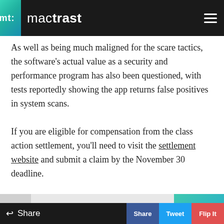mactrast
As well as being much maligned for the scare tactics, the software's actual value as a security and performance program has also been questioned, with tests reportedly showing the app returns false positives in system scans.
If you are eligible for compensation from the class action settlement, you'll need to visit the settlement website and submit a claim by the November 30 deadline.
[Figure (other): Next Up navigation bar showing 'Google Reorganizes I...' article link with teal arrow button]
Topics
lawsuit
Mac
Mackeeper
OS X
Settlement
Share  Share  Tweet  Flip It